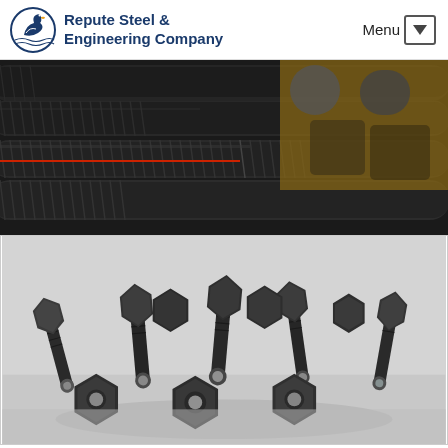Repute Steel & Engineering Company
[Figure (photo): Close-up photo of dark threaded steel rods/studs laid horizontally, with a partial view of hexagonal nuts and a brownish metal surface in the top-right corner]
[Figure (photo): Pile of dark steel bolts with hexagonal nuts assembled on threaded studs, scattered on a light grey surface, showing the ends of the bolts with silver tips]